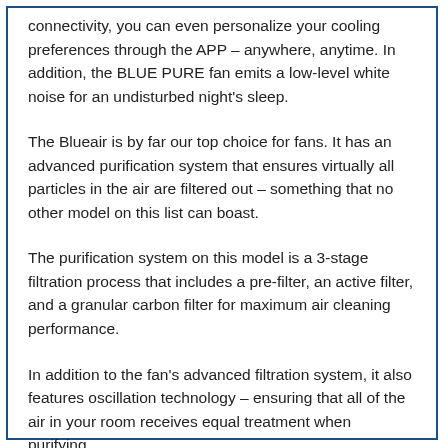connectivity, you can even personalize your cooling preferences through the APP – anywhere, anytime. In addition, the BLUE PURE fan emits a low-level white noise for an undisturbed night's sleep.
The Blueair is by far our top choice for fans. It has an advanced purification system that ensures virtually all particles in the air are filtered out – something that no other model on this list can boast.
The purification system on this model is a 3-stage filtration process that includes a pre-filter, an active filter, and a granular carbon filter for maximum air cleaning performance.
In addition to the fan's advanced filtration system, it also features oscillation technology – ensuring that all of the air in your room receives equal treatment when purifying.